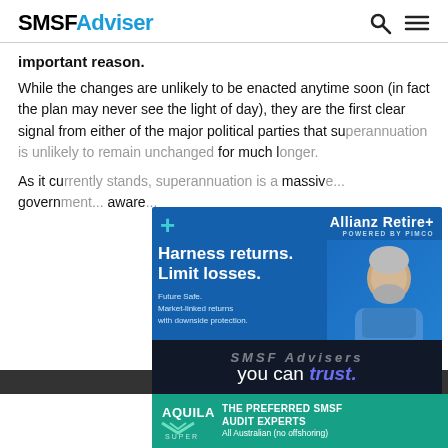SMSFAdviser
important reason.
While the changes are unlikely to be enacted anytime soon (in fact the plan may never see the light of day), they are the first clear signal from either of the major political parties that superannuation is unlikely to remain unchanged for much longer.
As it currently stands, superannuation is a massive... government... aware...
[Figure (photo): Allianz Retire+ advertisement featuring an older bearded man in a blue shirt. Text: Harness returns. Limit losses. Future Safe. Market-linked returns with downside protection. Powered by PIMCO. Learn more button.]
[Figure (photo): SMSF Advisers you can trust advertisement - dark background with white and purple text.]
[Figure (photo): Aquila Super advertisement - THE PREFERRED SMSF AUDIT EXPERTS - All Australian (no offshoring) - teal background.]